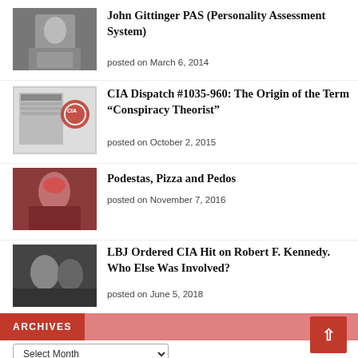[Figure (photo): Black and white photo of an older man in a suit]
John Gittinger PAS (Personality Assessment System)
posted on March 6, 2014
[Figure (photo): CIA dispatch document with CIA seal]
CIA Dispatch #1035-960: The Origin of the Term “Conspiracy Theorist”
posted on October 2, 2015
[Figure (photo): Person with red hair]
Podestas, Pizza and Pedos
posted on November 7, 2016
[Figure (photo): Black and white photo of people]
LBJ Ordered CIA Hit on Robert F. Kennedy. Who Else Was Involved?
posted on June 5, 2018
ARCHIVES
Select Month
CATEGORIES